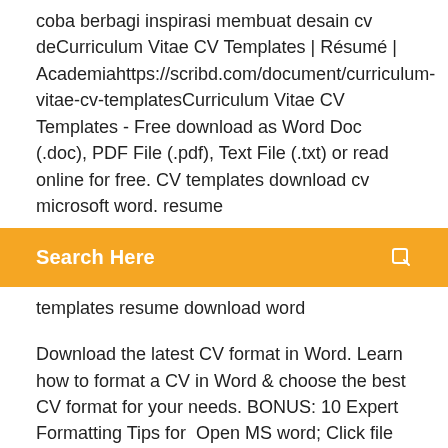coba berbagi inspirasi membuat desain cv deCurriculum Vitae CV Templates | Résumé | Academiahttps://scribd.com/document/curriculum-vitae-cv-templatesCurriculum Vitae CV Templates - Free download as Word Doc (.doc), PDF File (.pdf), Text File (.txt) or read online for free. CV templates download cv microsoft word. resume
[Figure (screenshot): Orange search bar with text 'Search Here' and a search icon on the right]
templates resume download word
Download the latest CV format in Word. Learn how to format a CV in Word & choose the best CV format for your needs. BONUS: 10 Expert Formatting Tips for  Open MS word; Click file from the menu bar on top of the screen; Select new; From there, you can Professional Resume / CV Template by Classic Design. Word CV version Follow the instructions below to download your PDF cv from cvonline.me. To download your cv as a PDF file, you have two options:  Download best resume